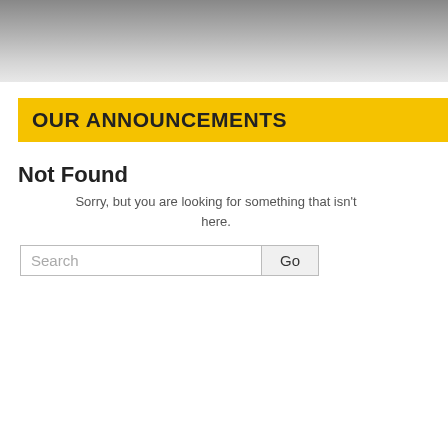[Figure (screenshot): Top gray gradient header bar of a website]
OUR ANNOUNCEMENTS
Not Found
Sorry, but you are looking for something that isn't here.
POSTS TAGGED
Why Propaganda
Posted by admin in A LEADER, PAKISTAN T
WHY PRO
Pakistan on Jun new head of th head, Lieutenar